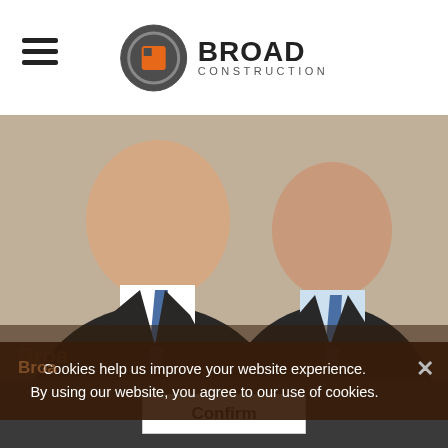Broad Construction
[Figure (photo): Two men in dark suits with blue ties smiling, photographed from the waist up against a neutral background. A Broad Construction banner is partially visible at the bottom of the photo.]
Cookies help us improve your website experience. By using our website, you agree to our use of cookies.
Confirm